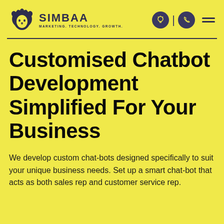[Figure (logo): Simbaa lion logo with text SIMBAA and tagline MARKETING. TECHNOLOGY. GROWTH.]
Customised Chatbot Development Simplified For Your Business
We develop custom chat-bots designed specifically to suit your unique business needs. Set up a smart chat-bot that acts as both sales rep and customer service rep.